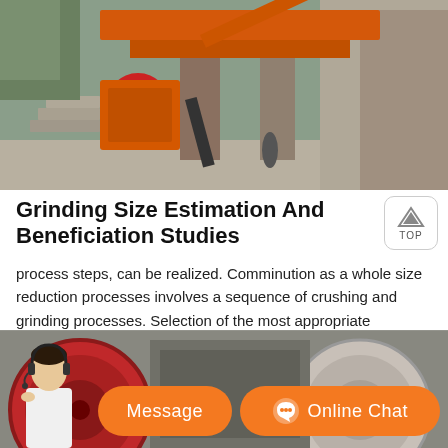[Figure (photo): Outdoor industrial mining/crushing equipment setup with orange machinery, conveyor structures, stone steps, and rock face background]
Grinding Size Estimation And Beneficiation Studies
process steps, can be realized. Comminution as a whole size reduction processes involves a sequence of crushing and grinding processes. Selection of the most appropriate comminution units and calculations of energy consumption can be estimated basing on Bond grindability
[Figure (photo): Industrial grinding/ball mill equipment with large red circular wheels/drums, partial view at bottom of page]
[Figure (photo): Customer service representative (woman with headset) overlaid on bottom photo, with orange Message and Online Chat buttons]